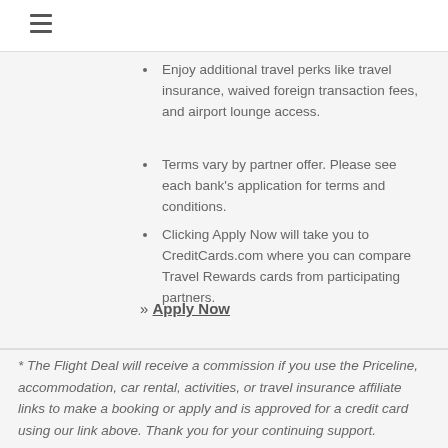☰
Enjoy additional travel perks like travel insurance, waived foreign transaction fees, and airport lounge access.
Terms vary by partner offer. Please see each bank's application for terms and conditions.
Clicking Apply Now will take you to CreditCards.com where you can compare Travel Rewards cards from participating partners.
» Apply Now
* The Flight Deal will receive a commission if you use the Priceline, accommodation, car rental, activities, or travel insurance affiliate links to make a booking or apply and is approved for a credit card using our link above. Thank you for your continuing support.